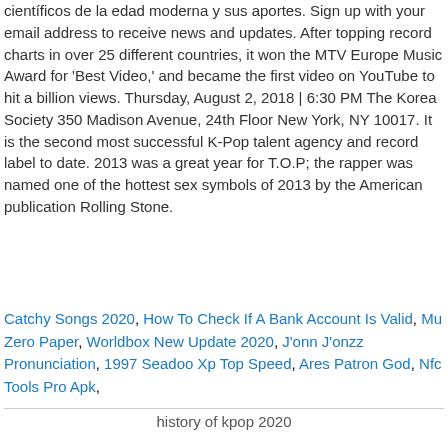científicos de la edad moderna y sus aportes. Sign up with your email address to receive news and updates. After topping record charts in over 25 different countries, it won the MTV Europe Music Award for 'Best Video,' and became the first video on YouTube to hit a billion views. Thursday, August 2, 2018 | 6:30 PM The Korea Society 350 Madison Avenue, 24th Floor New York, NY 10017. It is the second most successful K-Pop talent agency and record label to date. 2013 was a great year for T.O.P; the rapper was named one of the hottest sex symbols of 2013 by the American publication Rolling Stone.
Catchy Songs 2020, How To Check If A Bank Account Is Valid, Mu Zero Paper, Worldbox New Update 2020, J'onn J'onzz Pronunciation, 1997 Seadoo Xp Top Speed, Ares Patron God, Nfc Tools Pro Apk,
history of kpop 2020